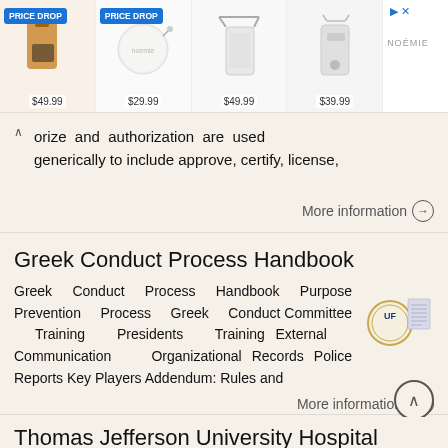[Figure (screenshot): Advertisement banner showing 4 product items (bags/phone cases) with prices $49.99, $29.99, $49.99, $39.99. Two items have 'PRICE DROP' badges.]
orize and authorization are used generically to include approve, certify, license,
Greek Conduct Process Handbook
Greek Conduct Process Handbook Purpose Prevention Process Greek Conduct Committee Training Presidents Training External Communication Organizational Records Police Reports Key Players Addendum: Rules and
Thomas Jefferson University Hospital